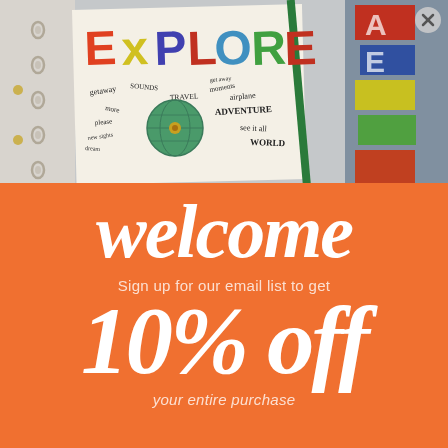[Figure (photo): Close-up photo of a decorative scrapbook/planner with colorful 'EXPLORE' lettering, handwritten travel words (getaway, travel, adventure, sounds, moments, magic, airplane, see it all, world), a globe illustration, and spiral ring binder on the left side.]
welcome
Sign up for our email list to get
10% off
your entire purchase